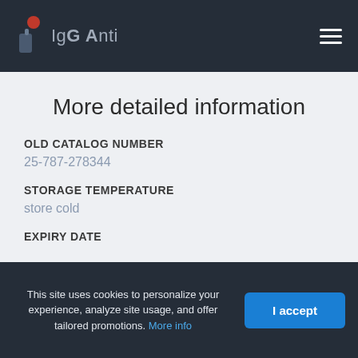IgG Anti
More detailed information
OLD CATALOG NUMBER
25-787-278344
STORAGE TEMPERATURE
store cold
EXPIRY DATE
This site uses cookies to personalize your experience, analyze site usage, and offer tailored promotions. More info